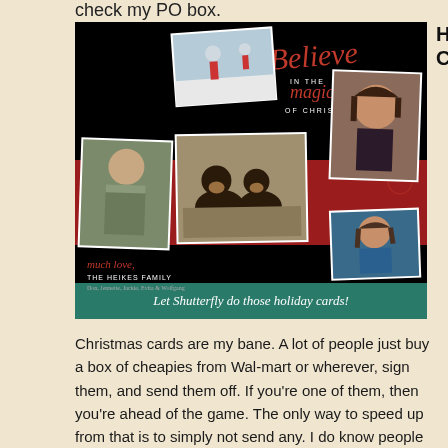check my PO box.
[Figure (photo): Holiday card from The Heikes Family showing multiple family photos on a black background with red accents and the text 'Believe in the magic of Christmas'. Bottom teal bar reads 'Let Shutterfly do those holiday cards!']
Holiday Cards
Christmas cards are my bane. A lot of people just buy a box of cheapies from Wal-mart or wherever, sign them, and send them off. If you're one of them, then you're ahead of the game. The only way to speed up from that is to simply not send any. I do know people who don't, and I'm envious. Yet I do send them, for a couple reasons. One, they help me keep in touch with